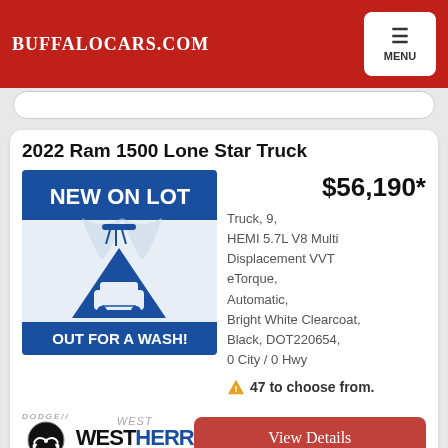BUFFALOCARS.COM
2022 Ram 1500 Lone Star Truck
$56,190*
[Figure (illustration): Car wash promotional image with text 'NEW ON LOT' at top and 'OUT FOR A WASH!' at bottom, showing a car under shower head graphic]
Truck, 9, HEMI 5.7L V8 Multi Displacement VVT eTorque, Automatic, Bright White Clearcoat, Black, DOT220654, 0 City / 0 Hwy
47 to choose from.
[Figure (logo): Dodge and West Herr New York dealer logos with RAM badge]
View Details